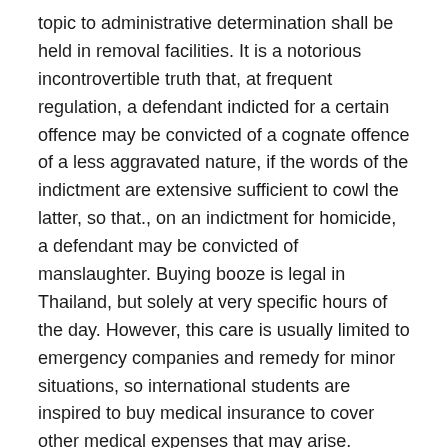topic to administrative determination shall be held in removal facilities. It is a notorious incontrovertible truth that, at frequent regulation, a defendant indicted for a certain offence may be convicted of a cognate offence of a less aggravated nature, if the words of the indictment are extensive sufficient to cowl the latter, so that., on an indictment for homicide, a defendant may be convicted of manslaughter. Buying booze is legal in Thailand, but solely at very specific hours of the day. However, this care is usually limited to emergency companies and remedy for minor situations, so international students are inspired to buy medical insurance to cover other medical expenses that may arise.
It does not seem from the proceedings whether or not the prosecution was instituted solely on the idea of that article. Removal Center means a center by which the